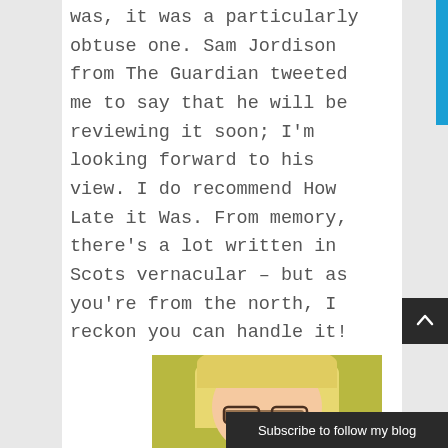was, it was a particularly obtuse one. Sam Jordison from The Guardian tweeted me to say that he will be reviewing it soon; I'm looking forward to his view. I do recommend How Late it Was. From memory, there's a lot written in Scots vernacular – but as you're from the north, I reckon you can handle it!
[Figure (photo): Partial photo of a blonde woman with glasses and a yellow-green background, cropped at the bottom of the page]